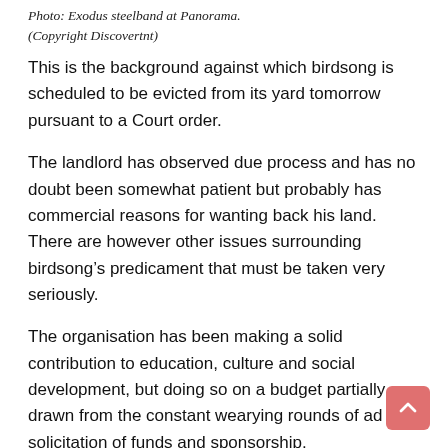Photo: Exodus steelband at Panorama. (Copyright Discovertnt)
This is the background against which birdsong is scheduled to be evicted from its yard tomorrow pursuant to a Court order.
The landlord has observed due process and has no doubt been somewhat patient but probably has commercial reasons for wanting back his land.  There are however other issues surrounding birdsong’s predicament that must be taken very seriously.
The organisation has been making a solid contribution to education, culture and social development, but doing so on a budget partially drawn from the constant wearying rounds of ad hoc solicitation of funds and sponsorship.
Is this to be the permanent condition of birdsong and many other groups who run academies as well as